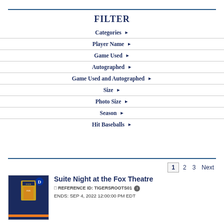FILTER
Categories ▶
Player Name ▶
Game Used ▶
Autographed ▶
Game Used and Autographed ▶
Size ▶
Photo Size ▶
Season ▶
Hit Baseballs ▶
1  2  3  Next
Suite Night at the Fox Theatre
☐ REFERENCE ID: TIGERSROOTS01 ⓘ
ENDS: SEP 4, 2022 12:00:00 PM EDT